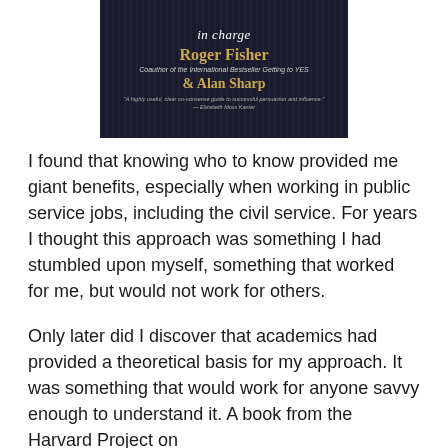[Figure (illustration): Book cover showing 'in charge' title, authors Roger Fisher and Alan Sharp, with subtitle 'Coauthor of the International Bestseller Getting to YES' and a quote from Elizabeth Moss Kanter, dark background with vertical stripe pattern.]
I found that knowing who to know provided me giant benefits, especially when working in public service jobs, including the civil service. For years I thought this approach was something I had stumbled upon myself, something that worked for me, but would not work for others.
Only later did I discover that academics had provided a theoretical basis for my approach. It was something that would work for anyone savvy enough to understand it. A book from the Harvard Project on